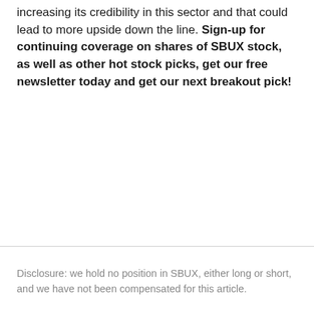increasing its credibility in this sector and that could lead to more upside down the line. Sign-up for continuing coverage on shares of SBUX stock, as well as other hot stock picks, get our free newsletter today and get our next breakout pick!
Disclosure: we hold no position in SBUX, either long or short, and we have not been compensated for this article.